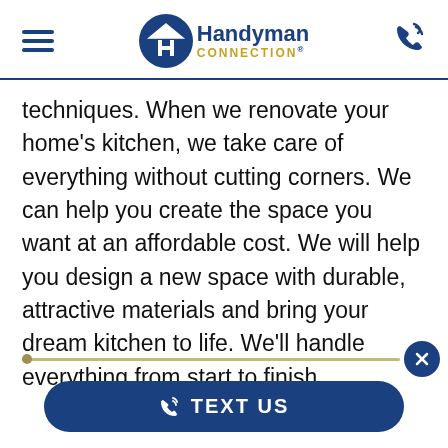[Figure (logo): Handyman Connection logo with hamburger menu on left and phone icon on right in header navigation bar]
techniques. When we renovate your home's kitchen, we take care of everything without cutting corners. We can help you create the space you want at an affordable cost. We will help you design a new space with durable, attractive materials and bring your dream kitchen to life. We'll handle everything from start to finish.
[Figure (other): TEXT US button with phone icon at the bottom of the page, with a scroll progress bar and close button above it]